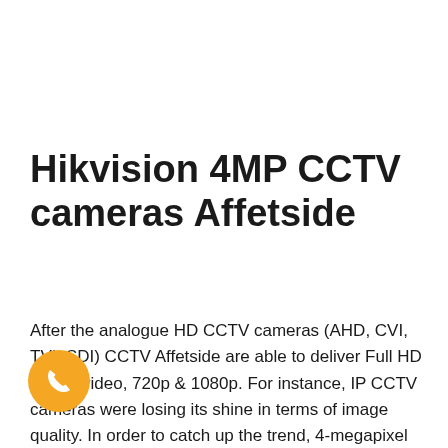Hikvision 4MP CCTV cameras Affetside
After the analogue HD CCTV cameras (AHD, CVI, TVI, SDI) CCTV Affetside are able to deliver Full HD 1080p video, 720p & 1080p. For instance, IP CCTV cameras were losing its shine in terms of image quality. In order to catch up the trend, 4-megapixel IP CCTV cameras come into the t. According to the IPVM (researching firm), ion CCTV cameras Affetside are an important emerging trend in video surveillance, aiming to replace
[Figure (other): Orange circular phone/call button icon in the bottom-left area of the page]